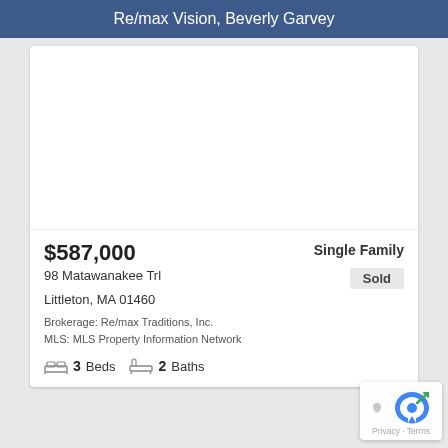Re/max Vision, Beverly Garvey
[Figure (photo): Property photo placeholder (white/blank area)]
$587,000
Single Family
Sold
98 Matawanakee Trl
Littleton, MA 01460
Brokerage: Re/max Traditions, Inc.
MLS: MLS Property Information Network
3 Beds   2 Baths
[Figure (logo): reCAPTCHA logo with Privacy and Terms links]